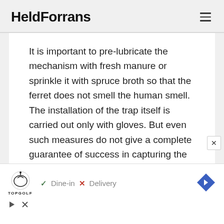HeldForrans
It is important to pre-lubricate the mechanism with fresh manure or sprinkle it with spruce broth so that the ferret does not smell the human smell. The installation of the trap itself is carried out only with gloves. But even such measures do not give a complete guarantee of success in capturing the dodgy animal.
[Figure (screenshot): Advertisement banner for TopGolf showing logo, Dine-in and Delivery options with check and X marks, and a blue diamond navigation icon]